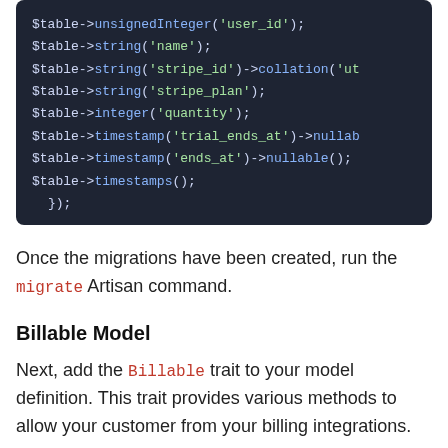[Figure (screenshot): Dark-themed code block showing PHP Laravel migration schema lines: $table->unsignedInteger, string, timestamp methods]
Once the migrations have been created, run the migrate Artisan command.
Billable Model
Next, add the Billable trait to your model definition. This trait provides various methods to allow your customer from your billing integrations.